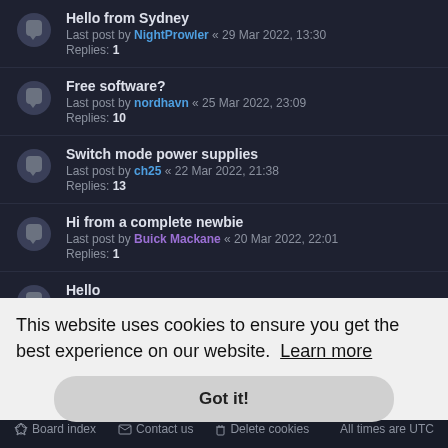Hello from Sydney
Last post by NightProwler « 29 Mar 2022, 13:30
Replies: 1
Free software?
Last post by nordhavn « 25 Mar 2022, 23:09
Replies: 10
Switch mode power supplies
Last post by ch25 « 22 Mar 2022, 21:38
Replies: 13
Hi from a complete newbie
Last post by Buick Mackane « 20 Mar 2022, 22:01
Replies: 1
Hello
Last post by Auldgeek « 20 Mar 2022, 16:56
Replies: 3
New from North Wales
Last post by Buick Mackane « 10 Mar 2022, 23:25
This website uses cookies to ensure you get the best experience on our website. Learn more
Got it!
Board index   Contact us   Delete cookies   All times are UTC